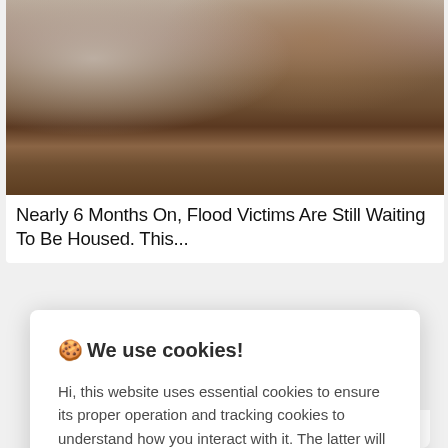[Figure (photo): Flooded interior scene with water on the floor and dark brown wooden furniture/walls visible]
Nearly 6 Months On, Flood Victims Are Still Waiting To Be Housed. This...
🍪 We use cookies!
Hi, this website uses essential cookies to ensure its proper operation and tracking cookies to understand how you interact with it. The latter will be set only after consent. Let me choose
Accept all
Reject all
RSS